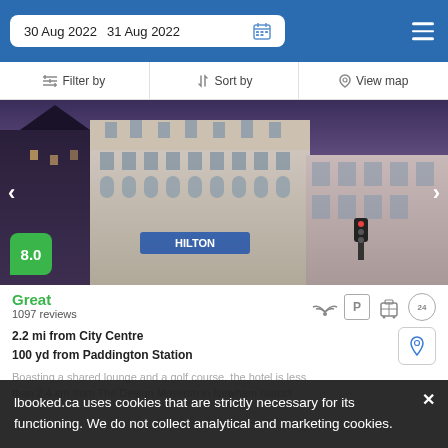30 Aug 2022   31 Aug 2022
Filter by   Sort by   View map
[Figure (photo): Hotel exterior building at dusk with illuminated facade. Score badge showing 8.0 in green.]
Great
1097 reviews
2.2 mi from City Centre
100 yd from Paddington Station
Boasting a shared lounge and a golf course, the hotel is less than 2.4 km from The Design Museum in Newham district
lbooked.ca uses cookies that are strictly necessary for its functioning. We do not collect analytical and marketing cookies.